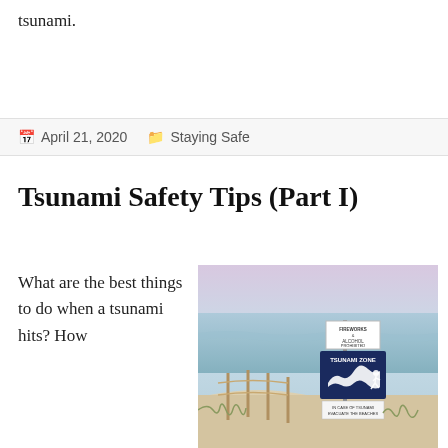tsunami.
April 21, 2020   Staying Safe
Tsunami Safety Tips (Part I)
What are the best things to do when a tsunami hits? How
[Figure (photo): Beach scene with a wooden fence in sandy dunes and a blue-and-white TSUNAMI ZONE warning sign, with the ocean visible in the background. A smaller sign above reads FIREWORKS / ALCOHOL PROHIBITED. Text at bottom reads IN CASE OF TSUNAMI EVACUATE THE BEACHES.]